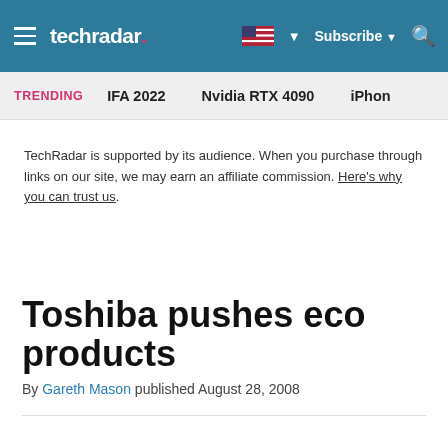techradar — Subscribe
TRENDING   IFA 2022   Nvidia RTX 4090   iPhon
TechRadar is supported by its audience. When you purchase through links on our site, we may earn an affiliate commission. Here's why you can trust us.
Toshiba pushes eco products
By Gareth Mason published August 28, 2008